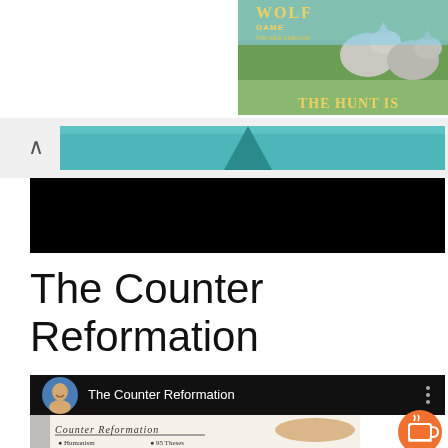[Figure (screenshot): Wolf Game advertisement banner in top right corner showing wolves in a field with text 'WOLF GAME THE WILD KINGDOM' and 'THE HUNT IS']
[Figure (screenshot): Browser UI element showing a caret/up arrow and a teal/turquoise colored bar or book spine]
[Figure (screenshot): Black rectangle representing a redacted or loading video area]
The Counter Reformation
[Figure (screenshot): YouTube video thumbnail for 'The Counter Reformation' showing a man's profile photo, video title text, a three-dot menu icon, and a whiteboard with handwritten text 'COUNTER REFORMATION' with bullet points including 'Humanism', '95 Theses', 'Calvinism', 'Printing Press', plus an orange coffee cup tip icon in the bottom right corner]